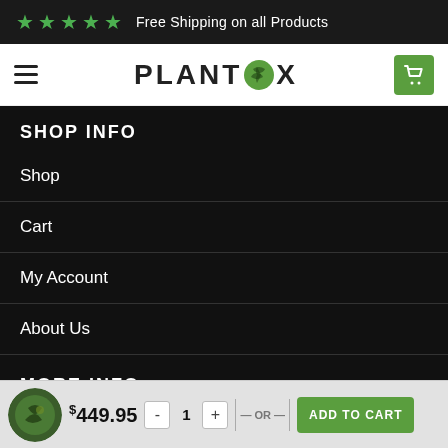★★★★★ Free Shipping on all Products
[Figure (logo): PLANTBOX logo with green globe icon]
SHOP INFO
Shop
Cart
My Account
About Us
MORE INFO
Contact Us
Shipping & Returns
Terms & Conditions
$449.95  -  1  +  — OR —  ADD TO CART